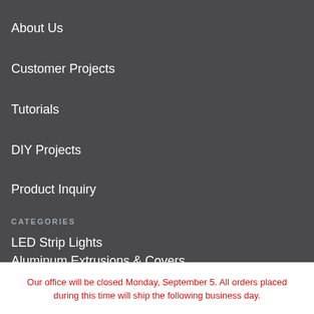About Us
Customer Projects
Tutorials
DIY Projects
Product Inquiry
CATEGORIES
LED Strip Lights
Aluminum Extrusions & Covers
Our office will be closed Monday, September 5. All orders placed during this time will ship the following business day.